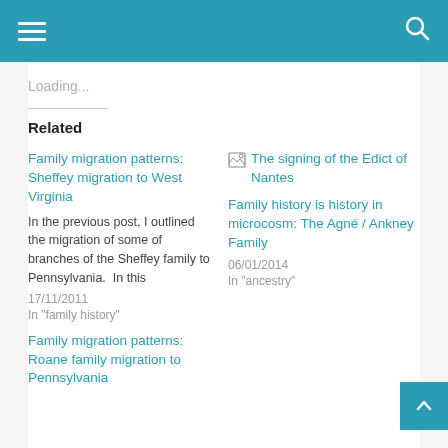☰  [menu]  [search]
Loading...
Related
Family migration patterns: Sheffey migration to West Virginia
In the previous post, I outlined the migration of some of branches of the Sheffey family to Pennsylvania.  In this
17/11/2011
In "family history"
[Figure (illustration): Broken image placeholder for 'The signing of the Edict of Nantes']
Family history is history in microcosm: The Agné / Ankney Family
06/01/2014
In "ancestry"
Family migration patterns: Roane family migration to Pennsylvania